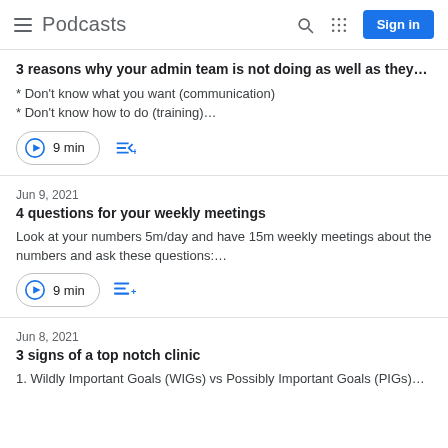Podcasts
3 reasons why your admin team is not doing as well as they…
* Don't know what you want (communication)
* Don't know how to do (training)…
Jun 9, 2021
4 questions for your weekly meetings
Look at your numbers 5m/day and have 15m weekly meetings about the numbers and ask these questions:…
Jun 8, 2021
3 signs of a top notch clinic
1. Wildly Important Goals (WIGs) vs Possibly Important Goals (PIGs)…